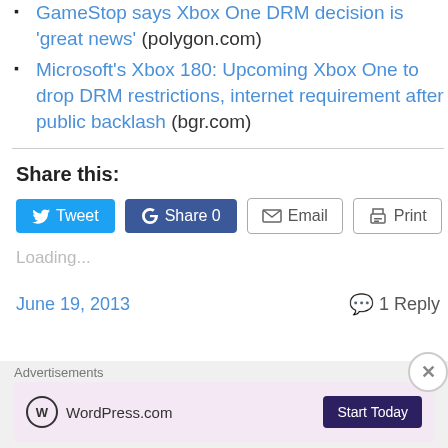GameStop says Xbox One DRM decision is 'great news' (polygon.com)
Microsoft's Xbox 180: Upcoming Xbox One to drop DRM restrictions, internet requirement after public backlash (bgr.com)
Share this:
[Figure (screenshot): Social share buttons: Tweet (Twitter), Share 0 (Facebook), Email, Print]
Loading...
June 19, 2013    1 Reply
Advertisements
[Figure (other): WordPress.com advertisement banner with Start Today button]